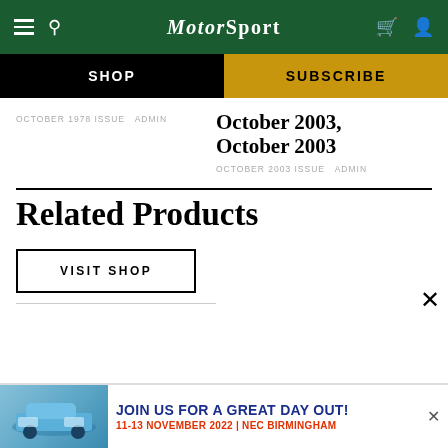MotorSport
SHOP
SUBSCRIBE
OCTOBER 1978 ISSUE   ADMIN
October 2003, October 2003
OCTOBER 2003 ISSUE   ADMIN
Related Products
VISIT SHOP
[Figure (photo): Advertisement banner showing a blue Porsche 911 car with text: JOIN US FOR A GREAT DAY OUT! 11-13 NOVEMBER 2022 | NEC BIRMINGHAM]